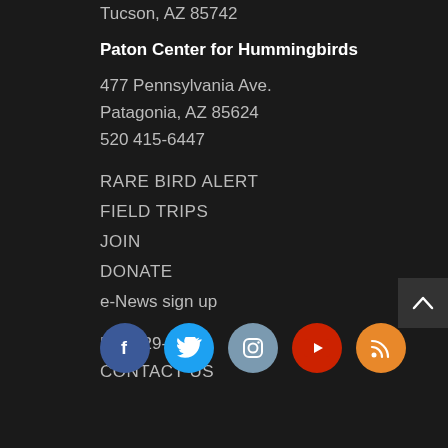Tucson, AZ 85742
Paton Center for Hummingbirds
477 Pennsylvania Ave.
Patagonia, AZ 85624
520 415-6447
RARE BIRD ALERT
FIELD TRIPS
JOIN
DONATE
e-News sign up
520 629-0510
CONTACT US
[Figure (infographic): Social media icons row: Facebook (blue circle), Twitter (cyan circle), Instagram (slate blue circle), YouTube (red circle), RSS (orange circle)]